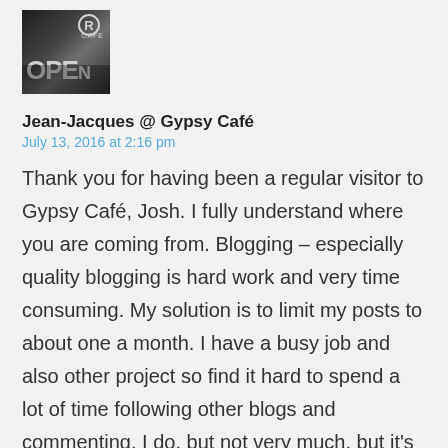[Figure (photo): Black and white photo of a cafe window with an OPEN sign, with a registered trademark R symbol visible at the top, and the word CAFE partially visible.]
Jean-Jacques @ Gypsy Café
July 13, 2016 at 2:16 pm
Thank you for having been a regular visitor to Gypsy Café, Josh. I fully understand where you are coming from. Blogging – especially quality blogging is hard work and very time consuming. My solution is to limit my posts to about one a month. I have a busy job and also other project so find it hard to spend a lot of time following other blogs and commenting. I do, but not very much, but it's a fine balance between letting blogging interfere with other important parts of our lives of